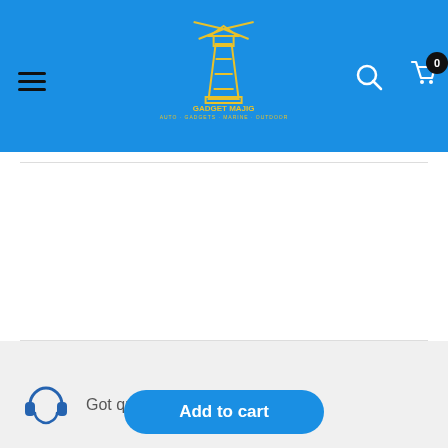[Figure (screenshot): Gadget Majig e-commerce website header with blue background, lighthouse logo, hamburger menu, search and cart icons]
[Figure (logo): Minn Kota brand logo in orange/yellow]
[Figure (logo): Garmin brand logo in black with blue triangle]
[Figure (logo): Furuno brand logo in dark blue]
Got questions? Call Us!
Add to cart